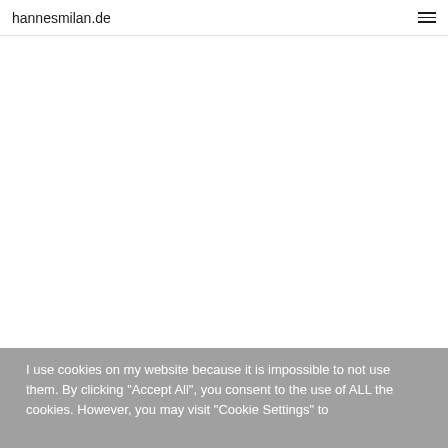hannesmilan.de
I use cookies on my website because it is impossible to not use them. By clicking "Accept All", you consent to the use of ALL the cookies. However, you may visit "Cookie Settings" to